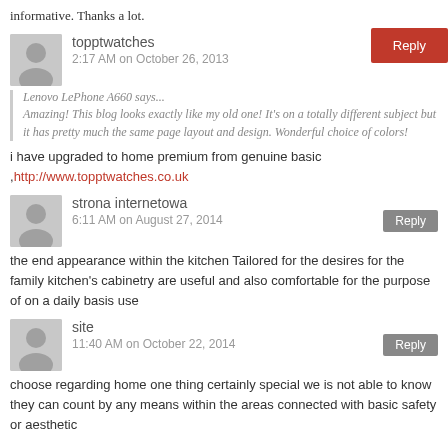informative. Thanks a lot.
topptwatches
2:17 AM on October 26, 2013
Lenovo LePhone A660 says...
Amazing! This blog looks exactly like my old one! It's on a totally different subject but it has pretty much the same page layout and design. Wonderful choice of colors!
i have upgraded to home premium from genuine basic
,http://www.topptwatches.co.uk
strona internetowa
6:11 AM on August 27, 2014
the end appearance within the kitchen Tailored for the desires for the family kitchen's cabinetry are useful and also comfortable for the purpose of on a daily basis use
site
11:40 AM on October 22, 2014
choose regarding home one thing certainly special we is not able to know they can count by any means within the areas connected with basic safety or aesthetic